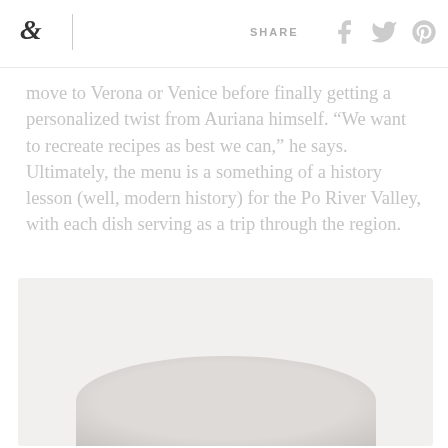& | SHARE
move to Verona or Venice before finally getting a personalized twist from Auriana himself. “We want to recreate recipes as best we can,” he says. Ultimately, the menu is a something of a history lesson (well, modern history) for the Po River Valley, with each dish serving as a trip through the region.
[Figure (photo): A white ceramic plate or bowl, partially visible, with soft curved edges against a light grey background.]